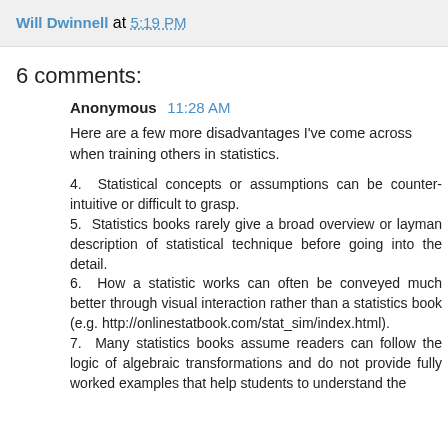Will Dwinnell at 5:19 PM
6 comments:
Anonymous  11:28 AM
Here are a few more disadvantages I've come across when training others in statistics.
4.  Statistical concepts or assumptions can be counter-intuitive or difficult to grasp.
5.  Statistics books rarely give a broad overview or layman description of statistical technique before going into the detail.
6.  How a statistic works can often be conveyed much better through visual interaction rather than a statistics book (e.g. http://onlinestatbook.com/stat_sim/index.html).
7.  Many statistics books assume readers can follow the logic of algebraic transformations and do not provide fully worked examples that help students to understand the